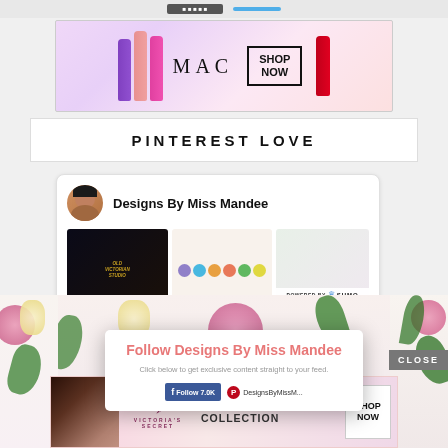[Figure (other): MAC cosmetics advertisement banner with lipsticks, MAC logo, and SHOP NOW button]
PINTEREST LOVE
[Figure (screenshot): Pinterest widget showing Designs By Miss Mandee profile with avatar and three pin thumbnails including Old Victorian Studio, colorful circles, and floral imagery]
[Figure (other): Sumo email capture popup overlay with floral background showing Follow Designs By Miss Mandee with Facebook follow 7.0K button and Pinterest DesignsByMissM button and CLOSE button]
[Figure (other): Victoria's Secret advertisement with model, script logo, SHOP THE COLLECTION text and SHOP NOW button]